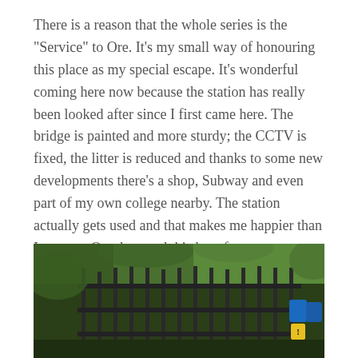There is a reason that the whole series is the "Service" to Ore. It's my small way of honouring this place as my special escape. It's wonderful coming here now because the station has really been looked after since I first came here. The bridge is painted and more sturdy; the CCTV is fixed, the litter is reduced and thanks to some new developments there's a shop, Subway and even part of my own college nearby. The station actually gets used and that makes me happier than I can say. Ore deserved this love for years.
[Figure (photo): Outdoor photo showing a dark metal fence/gate with blue and yellow warning signs attached, surrounded by dense green hedgerow and trees. The scene appears to be at a railway station.]